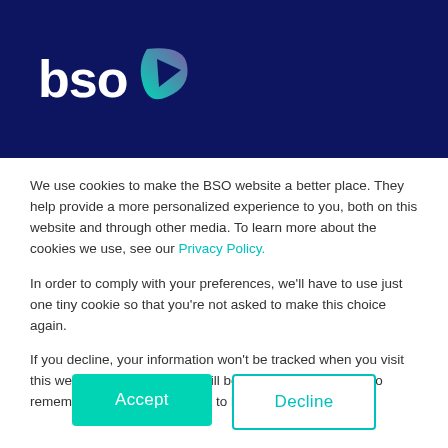[Figure (logo): BSO company logo — white 'bso' text with a teal/purple angular droplet icon on dark navy background]
We use cookies to make the BSO website a better place. They help provide a more personalized experience to you, both on this website and through other media. To learn more about the cookies we use, see our Privacy Policy.
In order to comply with your preferences, we'll have to use just one tiny cookie so that you're not asked to make this choice again.
If you decline, your information won't be tracked when you visit this website. A single cookie will be used in your browser to remember your preference not to be tracked.
Accept
Decline